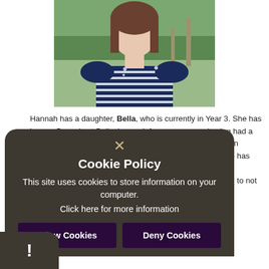[Figure (photo): Photo of a woman with brown hair wearing a navy blue and white striped top, photographed outdoors with green foliage in the background.]
Hannah has a daughter, Bella, who is currently in Year 3. She has been a Brownie at Bellasize pack for seven years, having had a son who now attends a secondary school. Hannah works in recruitment and has worked in both finance and retail. She has previously demonstrated the experience of being part of a committee, understanding that all adult volunteers decided to not continue but actually stayed on as member...
[Figure (screenshot): Cookie Policy dialog overlay with dark brown/charcoal rounded rectangle. Contains an X close button, title 'Cookie Policy', body text 'This site uses cookies to store information on your computer. Click here for more information', and two buttons: 'Allow Cookies' and 'Deny Cookies'. A dark strip with exclamation mark appears at bottom left.]